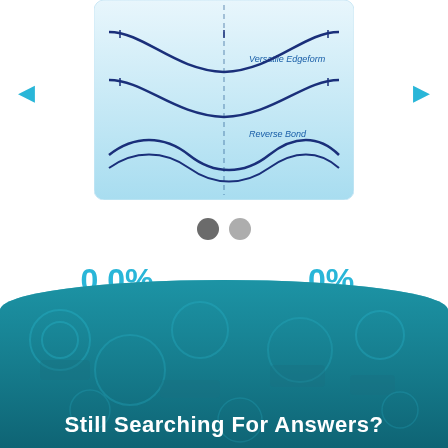[Figure (engineering-diagram): Engineering diagram showing two lens/spring curve profiles labeled 'Versatile Edgeform' (upper curve with U-shape) and 'Reverse Bond' (lower curve with wave/S-shape), displayed on a light blue background with a vertical dashed center line and tick marks.]
0.0%
On-Time Delivery
0%
First Time Performance
Still Searching For Answers?